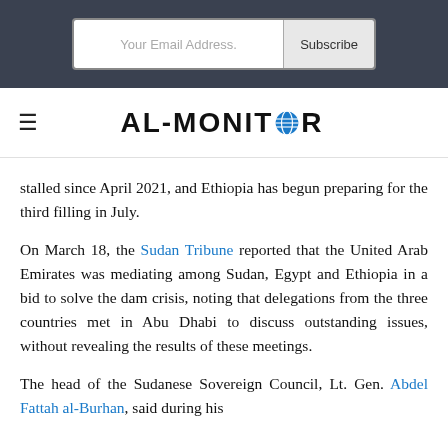[Figure (screenshot): Email subscription bar with 'Your Email Address.' input and 'Subscribe' button on dark background]
[Figure (logo): AL-MONITOR logo with globe icon replacing the O, with hamburger menu icon to the left]
stalled since April 2021, and Ethiopia has begun preparing for the third filling in July.
On March 18, the Sudan Tribune reported that the United Arab Emirates was mediating among Sudan, Egypt and Ethiopia in a bid to solve the dam crisis, noting that delegations from the three countries met in Abu Dhabi to discuss outstanding issues, without revealing the results of these meetings.
The head of the Sudanese Sovereign Council, Lt. Gen. Abdel Fattah al-Burhan, said during his